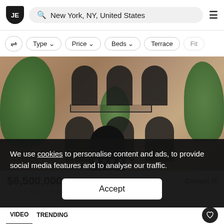JE | New York, NY, United States
Type | Price | Beds | Terrace | Fit
[Figure (photo): Exterior photo of brownstone buildings in New York City, showing arched windows, balconies, and trees in front. Five navigation dots at bottom indicate a slideshow with the first dot active.]
$6,500,000 | Contact
House in New York, New York, United States
We use cookies to personalise content and ads, to provide social media features and to analyse our traffic.
Accept
VIDEO | TRENDING